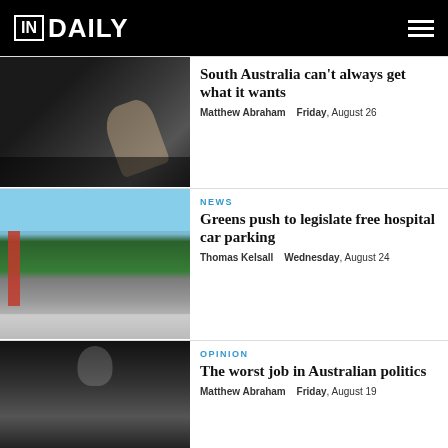IN DAILY
[Figure (photo): Close-up of a raised hand in a dark setting, person in a suit]
South Australia can't always get what it wants
Matthew Abraham   Friday, August 26
[Figure (photo): Exterior of a large commercial building with green facade and red banner]
NEWS
Greens push to legislate free hospital car parking
Thomas Kelsall   Wednesday, August 24
[Figure (photo): Black and white photo of a man in a suit speaking at microphones]
OPINION
The worst job in Australian politics
Matthew Abraham   Friday, August 19